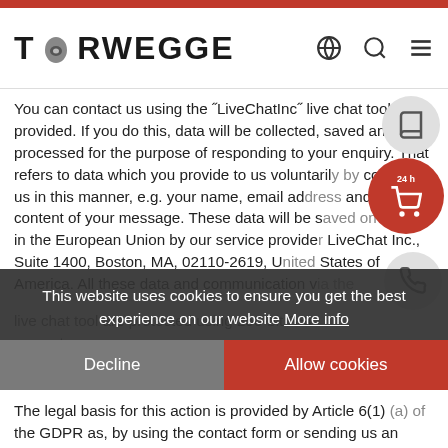TORWEGGE
You can contact us using the "LiveChatInc" live chat tool provided. If you do this, data will be collected, saved and processed for the purpose of responding to your enquiry. That refers to data which you provide to us voluntarily by contacting us in this manner, e.g. your name, email address and the content of your message. These data will be saved on servers in the European Union by our service provider LiveChat Inc., Suite 1400, Boston, MA, 02110-2619, United States of America. All these data and communication via the live chat tool are protected using 256-bit SSL encrypt...
For more information on data protection when using LiveChatInc, please click on the following link:
https://...
This website uses cookies to ensure you get the best experience on our website More info
The legal basis for this action is provided by Article 6(1) (a) of the GDPR as, by using the contact form or sending us an